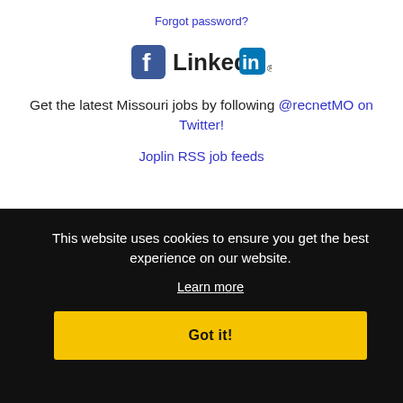Forgot password?
[Figure (logo): Facebook and LinkedIn social media icons side by side]
Get the latest Missouri jobs by following @recnetMO on Twitter!
Joplin RSS job feeds
This website uses cookies to ensure you get the best experience on our website.
Learn more
Got it!